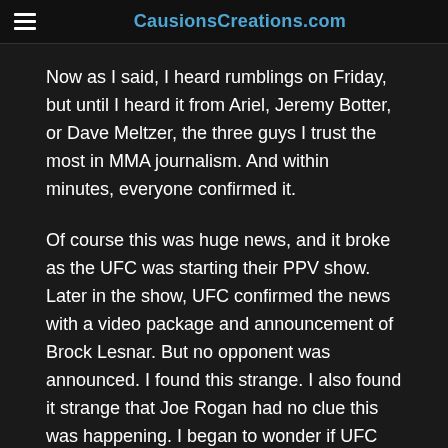CausionsCreations.com
Now as I said, I heard rumblings on Friday, but until I heard it from Ariel, Jeremy Botter, or Dave Meltzer, the three guys I trust the most in MMA journalism. And within minutes, everyone confirmed it.
Of course this was huge news, and it broke as the UFC was starting their PPV show. Later in the show, UFC confirmed the news with a video package and announcement of Brock Lesnar. But no opponent was announced. I found this strange. I also found it strange that Joe Rogan had no clue this was happening. I began to wonder if UFC was really planning to announce Brock on Saturday night, or were they forced